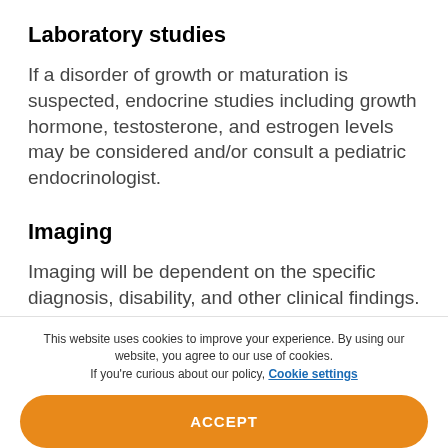Laboratory studies
If a disorder of growth or maturation is suspected, endocrine studies including growth hormone, testosterone, and estrogen levels may be considered and/or consult a pediatric endocrinologist.
Imaging
Imaging will be dependent on the specific diagnosis, disability, and other clinical findings.
This website uses cookies to improve your experience. By using our website, you agree to our use of cookies. If you're curious about our policy, Cookie settings
ACCEPT